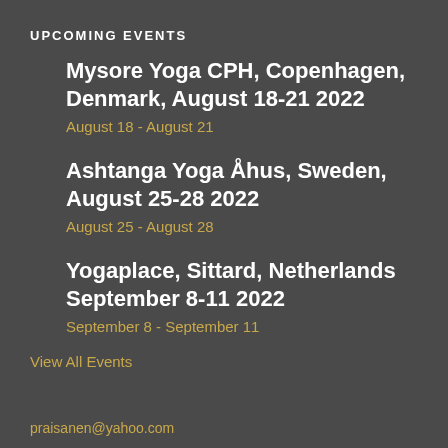UPCOMING EVENTS
Mysore Yoga CPH, Copenhagen, Denmark, August 18-21 2022
August 18 - August 21
Ashtanga Yoga Åhus, Sweden, August 25-28 2022
August 25 - August 28
Yogaplace, Sittard, Netherlands September 8-11 2022
September 8 - September 11
View All Events
praisanen@yahoo.com